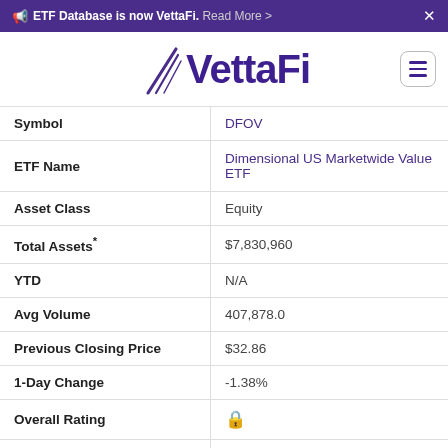ETF Database is now VettaFi. Read More >
[Figure (logo): VettaFi logo with decorative lines and hamburger menu button]
| Field | Value |
| --- | --- |
| Symbol | DFOV |
| ETF Name | Dimensional US Marketwide Value ETF |
| Asset Class | Equity |
| Total Assets* | $7,830,960 |
| YTD | N/A |
| Avg Volume | 407,878.0 |
| Previous Closing Price | $32.86 |
| 1-Day Change | -1.38% |
| Overall Rating | 🔒 |
| Symbol | DEAT |